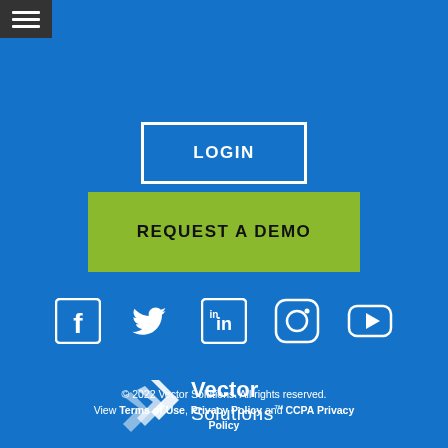[Figure (screenshot): Hamburger menu icon in dark grey box at top left]
LOGIN
REQUEST A DEMO
[Figure (logo): Social media icons row: Facebook, Twitter, LinkedIn, Instagram, YouTube]
[Figure (logo): Vector Solutions logo with chevron graphic]
© 2022 Vector Solutions. All rights reserved. View Terms of Use, Privacy Policy and CCPA Privacy Policy